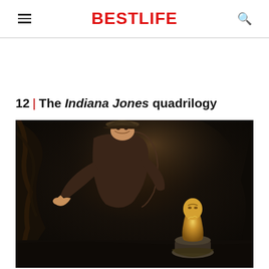BESTLIFE
12 | The Indiana Jones quadrilogy
[Figure (photo): Harrison Ford as Indiana Jones leaning forward reaching toward a golden idol artifact placed on a stone pedestal, wearing his iconic leather jacket and fedora hat, set in a dimly lit cave environment]